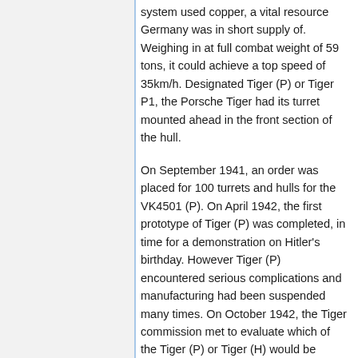system used copper, a vital resource Germany was in short supply of. Weighing in at full combat weight of 59 tons, it could achieve a top speed of 35km/h. Designated Tiger (P) or Tiger P1, the Porsche Tiger had its turret mounted ahead in the front section of the hull.
On September 1941, an order was placed for 100 turrets and hulls for the VK4501 (P). On April 1942, the first prototype of Tiger (P) was completed, in time for a demonstration on Hitler's birthday. However Tiger (P) encountered serious complications and manufacturing had been suspended many times. On October 1942, the Tiger commission met to evaluate which of the Tiger (P) or Tiger (H) would be selected for mass production.